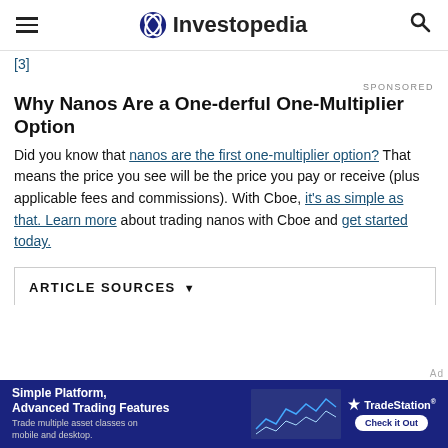Investopedia
[3]
Why Nanos Are a One-derful One-Multiplier Option
Did you know that nanos are the first one-multiplier option? That means the price you see will be the price you pay or receive (plus applicable fees and commissions). With Cboe, it's as simple as that. Learn more about trading nanos with Cboe and get started today.
ARTICLE SOURCES
[Figure (infographic): TradeStation advertisement banner: Simple Platform, Advanced Trading Features. Trade multiple asset classes on mobile and desktop. Check it Out.]